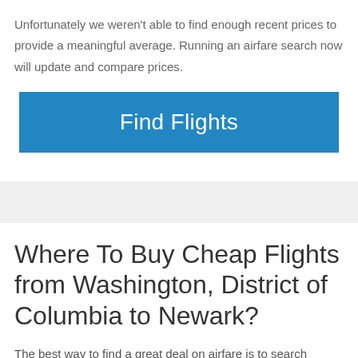Unfortunately we weren't able to find enough recent prices to provide a meaningful average. Running an airfare search now will update and compare prices.
[Figure (other): Blue 'Find Flights' button]
Where To Buy Cheap Flights from Washington, District of Columbia to Newark?
The best way to find a great deal on airfare is to search